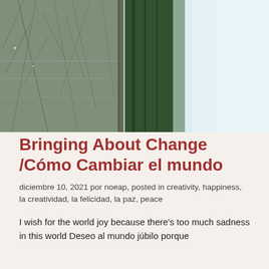[Figure (photo): A landscape photo rotated sideways showing a road flanked by bare winter trees on the left and dense green trees on the right, with a light sky visible on the far right.]
Bringing About Change /Cómo Cambiar el mundo
diciembre 10, 2021 por noeap, posted in creativity, happiness, la creatividad, la felicidad, la paz, peace
I wish for the world joy because there's too much sadness in this world Deseo al mundo júbilo porque